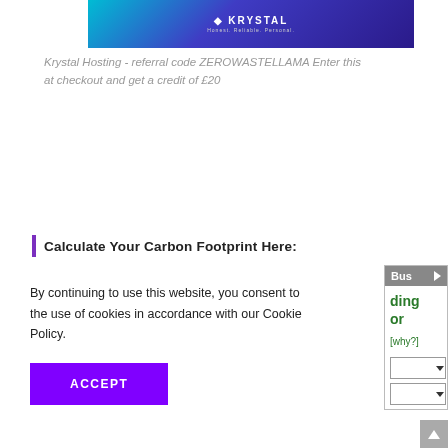[Figure (logo): Krystal Hosting logo banner with purple/teal gradient background, white diamond shield icon and KRYSTAL text with tagline 'Honest. Reliable. Personal.']
Krystal Hosting - referral code ZEROWASTELLAMA Enter this at checkout and get a credit of £20
Calculate Your Carbon Footprint Here:
By continuing to use this website, you consent to the use of cookies in accordance with our Cookie Policy.
ACCEPT
[Figure (screenshot): Right sidebar widget showing 'Bus' tab with green text content including 'ding', 'or', '[why?]' and two dropdown selects]